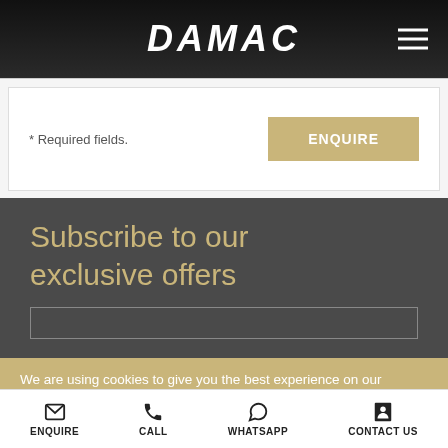DAMAC
* Required fields.
ENQUIRE
Subscribe to our exclusive offers
We are using cookies to give you the best experience on our website. More details here Cookie policy - Privacy Policy
Accept
ENQUIRE  CALL  WHATSAPP  CONTACT US